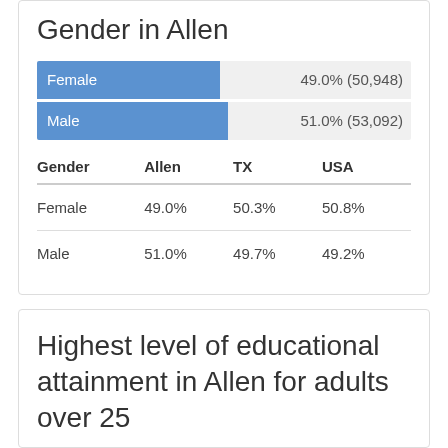Gender in Allen
[Figure (bar-chart): Gender in Allen]
| Gender | Allen | TX | USA |
| --- | --- | --- | --- |
| Female | 49.0% | 50.3% | 50.8% |
| Male | 51.0% | 49.7% | 49.2% |
Highest level of educational attainment in Allen for adults over 25